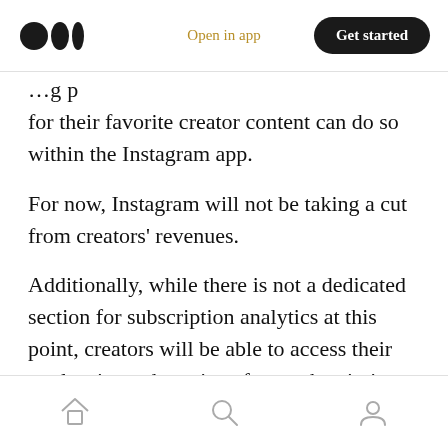Medium logo | Open in app | Get started
…g p for their favorite creator content can do so within the Instagram app.
For now, Instagram will not be taking a cut from creators' revenues.
Additionally, while there is not a dedicated section for subscription analytics at this point, creators will be able to access their total estimated earnings from subscriptions, count of total subscribers, new subscriptions as well as cancellations from their subscription settings.
Home | Search | Profile